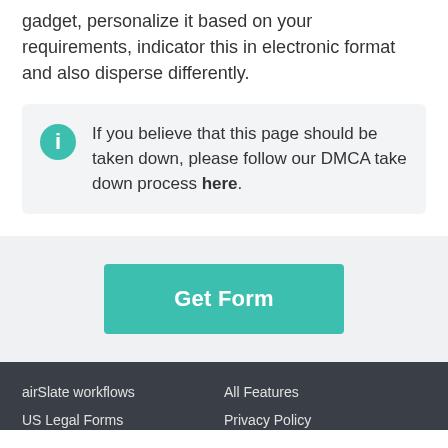gadget, personalize it based on your requirements, indicator this in electronic format and also disperse differently.
If you believe that this page should be taken down, please follow our DMCA take down process here.
Get Form
airSlate workflows
US Legal Forms
All Features
Privacy Policy